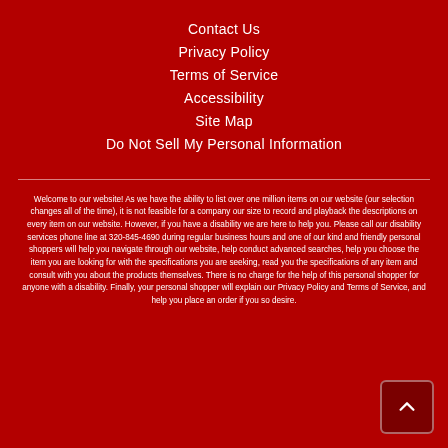Contact Us
Privacy Policy
Terms of Service
Accessibility
Site Map
Do Not Sell My Personal Information
Welcome to our website! As we have the ability to list over one million items on our website (our selection changes all of the time), it is not feasible for a company our size to record and playback the descriptions on every item on our website. However, if you have a disability we are here to help you. Please call our disability services phone line at 320-845-4690 during regular business hours and one of our kind and friendly personal shoppers will help you navigate through our website, help conduct advanced searches, help you choose the item you are looking for with the specifications you are seeking, read you the specifications of any item and consult with you about the products themselves. There is no charge for the help of this personal shopper for anyone with a disability. Finally, your personal shopper will explain our Privacy Policy and Terms of Service, and help you place an order if you so desire.